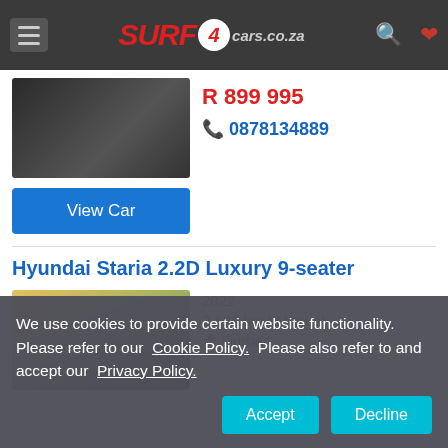SURF4cars.co.za navigation header
R 899 995
0878134889
View Car
Hyundai Staria 2.2D Luxury 9-seater
[Figure (photo): Partial view of a dark-colored car from above-front angle]
2022
2 600 km | Manual
Durban
[Figure (photo): Hyundai Staria van in front of a modern building at dusk]
We use cookies to provide certain website functionality. Please refer to our Cookie Policy. Please also refer to and accept our Privacy Policy.